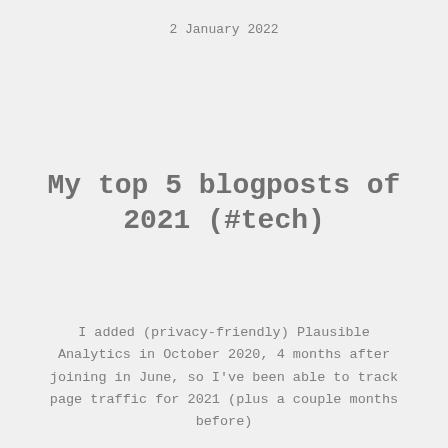2 January 2022
My top 5 blogposts of 2021 (#tech)
I added (privacy-friendly) Plausible Analytics in October 2020, 4 months after joining in June, so I've been able to track page traffic for 2021 (plus a couple months before)